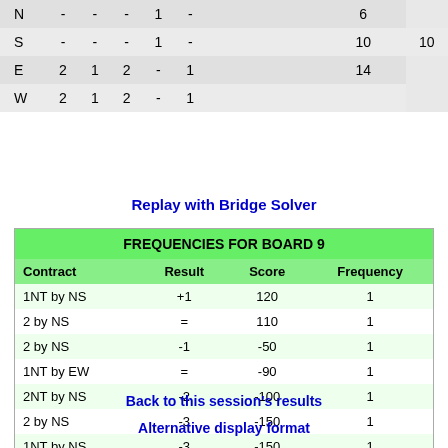|  |  |  |  |  |  |  |  |  |
| --- | --- | --- | --- | --- | --- | --- | --- | --- |
| N | - | - | - | 1 | - |  | 6 |  |
| S | - | - | - | 1 | - |  | 10 |  | 10 |
| E | 2 | 1 | 2 | - | 1 |  | 14 |  |
| W | 2 | 1 | 2 | - | 1 |  |  |  |
Replay with Bridge Solver
| Contract | Result | Score | Frequency |
| --- | --- | --- | --- |
| 1NT by NS | +1 | 120 | 1 |
| 2 by NS | = | 110 | 1 |
| 2 by NS | -1 | -50 | 1 |
| 1NT by EW | = | -90 | 1 |
| 2NT by NS | -2 | -100 | 1 |
| 2 by NS | -3 | -150 | 1 |
| 1NT by NS | -3 | -150 | 1 |
Back to this session's results
Alternative display format